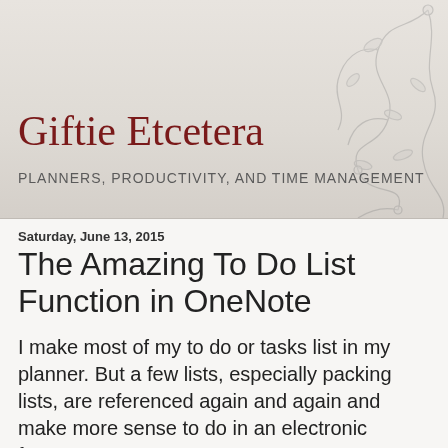[Figure (illustration): Blog header background with floral/vine decorative pattern on the right side, gray-beige gradient texture]
Giftie Etcetera
PLANNERS, PRODUCTIVITY, AND TIME MANAGEMENT
Saturday, June 13, 2015
The Amazing To Do List Function in OneNote
I make most of my to do or tasks list in my planner. But a few lists, especially packing lists, are referenced again and again and make more sense to do in an electronic format.
If you use OneNote (a free program by Microsoft as of the date this article was published), you can make